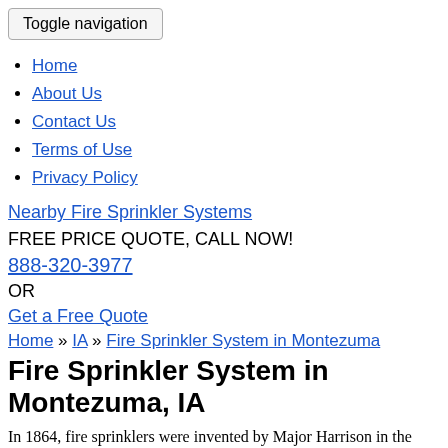Toggle navigation
Home
About Us
Contact Us
Terms of Use
Privacy Policy
Nearby Fire Sprinkler Systems
FREE PRICE QUOTE, CALL NOW!
888-320-3977
OR
Get a Free Quote
Home » IA » Fire Sprinkler System in Montezuma
Fire Sprinkler System in Montezuma, IA
In 1864, fire sprinklers were invented by Major Harrison in the United Kingdom. They were further developed in 1874 by Henry B... in the United States and helped the automatic fire...